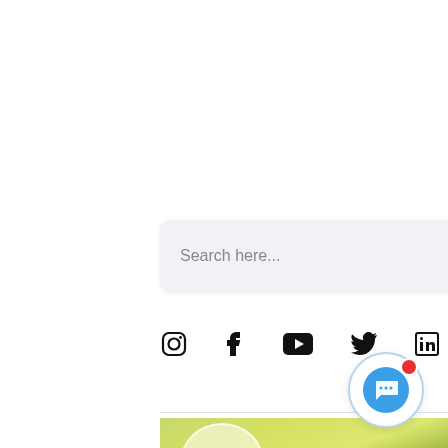[Figure (screenshot): Search bar with green search button showing magnifying glass icon, on a light gray background with rounded corners]
[Figure (infographic): Social media icons: Instagram, Facebook, YouTube, Twitter, LinkedIn in black]
[Figure (photo): Food photograph showing salad with vegetables on plates, partially visible at bottom of page, with a circular chat bubble widget in the bottom right corner showing a blue speech bubble with three dots and a red notification dot]